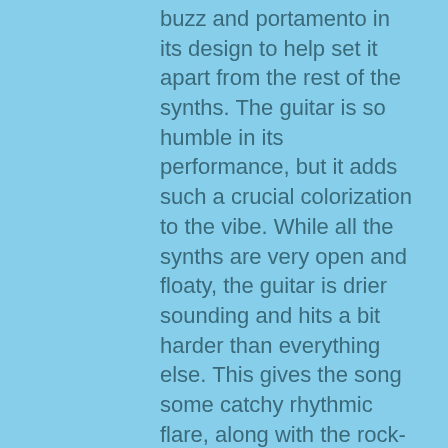buzz and portamento in its design to help set it apart from the rest of the synths. The guitar is so humble in its performance, but it adds such a crucial colorization to the vibe. While all the synths are very open and floaty, the guitar is drier sounding and hits a bit harder than everything else. This gives the song some catchy rhythmic flare, along with the rock-steady drums maintaining a very catchy beat.